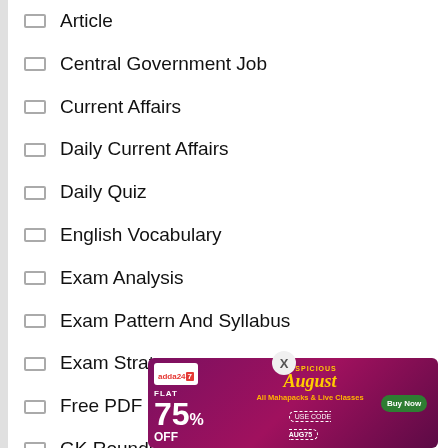Article
Central Government Job
Current Affairs
Daily Current Affairs
Daily Quiz
English Vocabulary
Exam Analysis
Exam Pattern And Syllabus
Exam Strategy
Free PDF
GK Roundup (truncated)
(partially visible)
(partially visible)
[Figure (infographic): Adda247 advertisement banner: FLAT 75% OFF on All Mahapacks & Live Classes, USE CODE AUG75, Buy Now button. Auspicious August themed purple banner with close button X.]